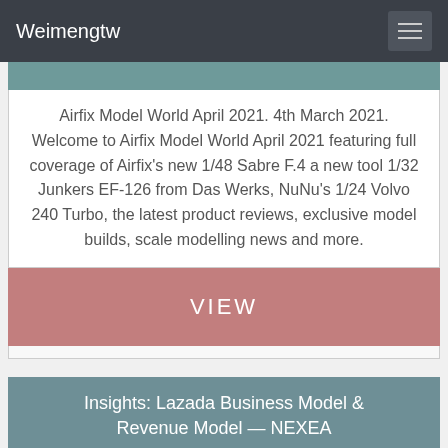Weimengtw
Airfix Model World April 2021. 4th March 2021. Welcome to Airfix Model World April 2021 featuring full coverage of Airfix's new 1/48 Sabre F.4 a new tool 1/32 Junkers EF-126 from Das Werks, NuNu's 1/24 Volvo 240 Turbo, the latest product reviews, exclusive model builds, scale modelling news and more.
VIEW
Insights: Lazada Business Model & Revenue Model — NEXEA